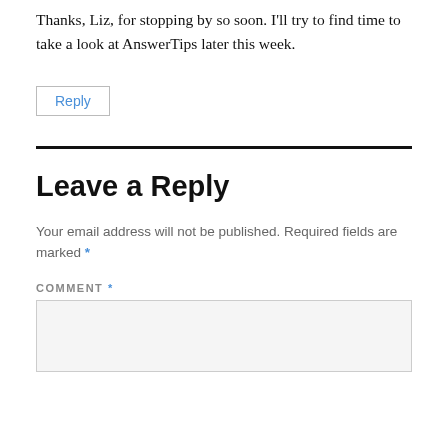Thanks, Liz, for stopping by so soon. I'll try to find time to take a look at AnswerTips later this week.
Reply
Leave a Reply
Your email address will not be published. Required fields are marked *
COMMENT *